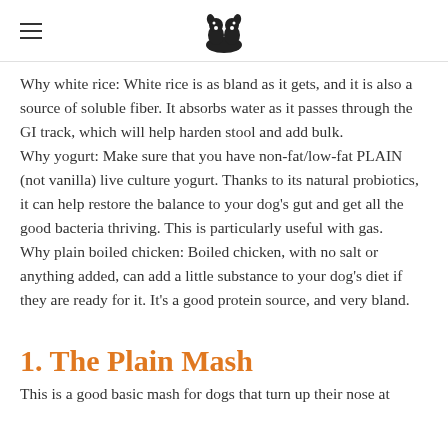[hamburger menu icon] [dog logo]
Why white rice: White rice is as bland as it gets, and it is also a source of soluble fiber. It absorbs water as it passes through the GI track, which will help harden stool and add bulk.
Why yogurt: Make sure that you have non-fat/low-fat PLAIN (not vanilla) live culture yogurt. Thanks to its natural probiotics, it can help restore the balance to your dog's gut and get all the good bacteria thriving. This is particularly useful with gas.
Why plain boiled chicken: Boiled chicken, with no salt or anything added, can add a little substance to your dog's diet if they are ready for it. It's a good protein source, and very bland.
1. The Plain Mash
This is a good basic mash for dogs that turn up their nose at